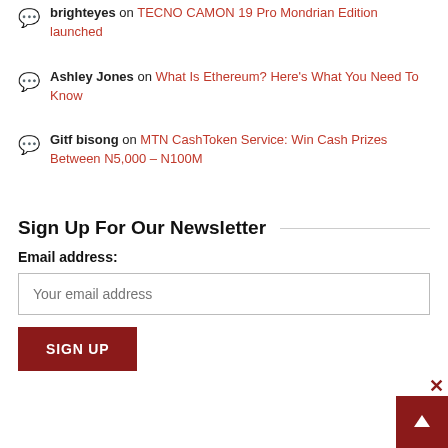brighteyes on TECNO CAMON 19 Pro Mondrian Edition launched
Ashley Jones on What Is Ethereum? Here's What You Need To Know
Gitf bisong on MTN CashToken Service: Win Cash Prizes Between N5,000 – N100M
Sign Up For Our Newsletter
Email address:
Your email address
SIGN UP